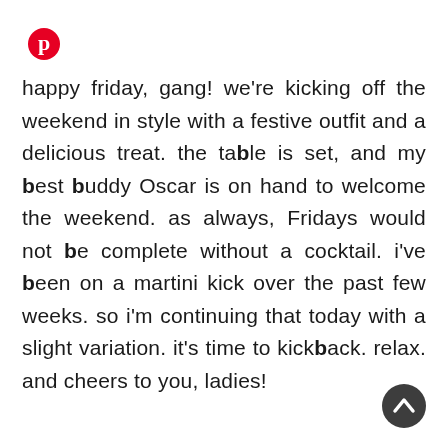[Figure (logo): Pinterest logo — red circle with white P letter]
happy friday, gang! we're kicking off the weekend in style with a festive outfit and a delicious treat. the table is set, and my best buddy Oscar is on hand to welcome the weekend. as always, Fridays would not be complete without a cocktail. i've been on a martini kick over the past few weeks. so i'm continuing that today with a slight variation. it's time to kickback. relax. and cheers to you, ladies!
[Figure (other): Dark circular scroll-to-top button with upward chevron arrow]